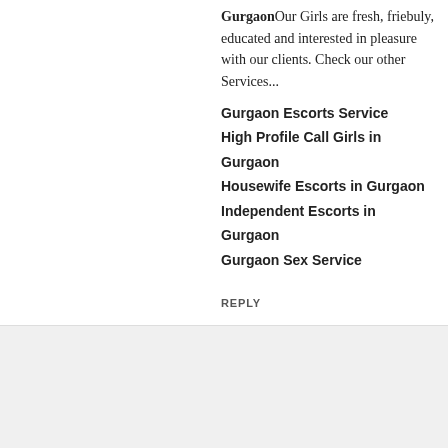GurgaonOur Girls are fresh, friebuly, educated and interested in pleasure with our clients. Check our other Services...
Gurgaon Escorts Service
High Profile Call Girls in Gurgaon
Housewife Escorts in Gurgaon
Independent Escorts in Gurgaon
Gurgaon Sex Service
REPLY
[Figure (photo): Profile photo of a blonde woman with hand near face]
Gurgaon Escorts Service
10 June 2020 at 11:40
Welcome to OurCall Girls in Ahmedabadand Enjoy the best services in all 3/5 star hotels, society & apartments available 24/7.
Escorts in Ahmedabad
Hi Profile Escorts in Ahmedabad
Russian Call Girls in Ahmedabad
Female Escorts Service in Ahmedabad